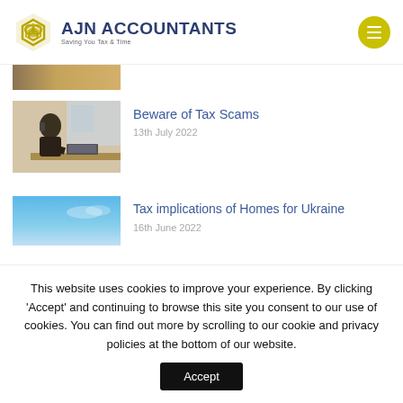[Figure (logo): AJN Accountants logo with hexagon icon and tagline 'Saving You Tax & Time']
[Figure (photo): Partial photo - warm toned image cropped at top]
Beware of Tax Scams
13th July 2022
[Figure (photo): Person sitting at desk on phone, working on laptop]
Tax implications of Homes for Ukraine
16th June 2022
[Figure (photo): Blue sky photo - partial view]
This website uses cookies to improve your experience. By clicking 'Accept' and continuing to browse this site you consent to our use of cookies. You can find out more by scrolling to our cookie and privacy policies at the bottom of our website.
Accept